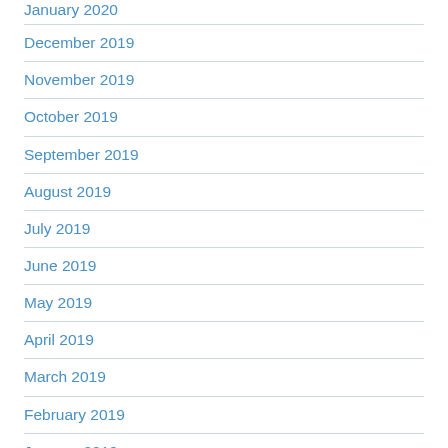January 2020
December 2019
November 2019
October 2019
September 2019
August 2019
July 2019
June 2019
May 2019
April 2019
March 2019
February 2019
January 2019